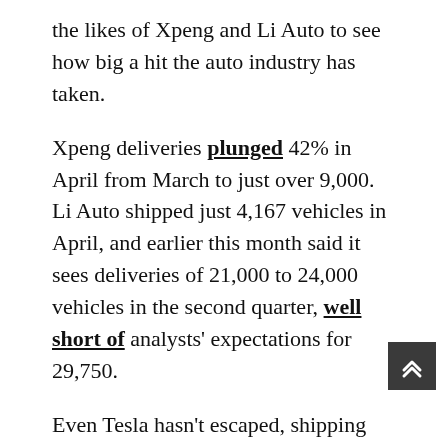the likes of Xpeng and Li Auto to see how big a hit the auto industry has taken.
Xpeng deliveries plunged 42% in April from March to just over 9,000. Li Auto shipped just 4,167 vehicles in April, and earlier this month said it sees deliveries of 21,000 to 24,000 vehicles in the second quarter, well short of analysts' expectations for 29,750.
Even Tesla hasn't escaped, shipping just 1,512 vehicles from its Shanghai plant in April, when it was closed for three weeks.
Production has now resumed, with the EV pioneer going to extreme lengths to get back to capacity of around 2,100 cars a day.